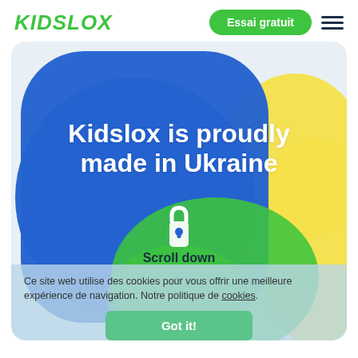KIDSLOX | Essai gratuit
[Figure (screenshot): Hero section with blue, green, and yellow circular shapes on a light rounded rectangle background. Text reads 'Kidslox is proudly made in Ukraine' with a white lock icon. A 'Scroll down' prompt with chevron is shown below. A cookie consent overlay is partially visible at the bottom.]
Ce site web utilise des cookies pour vous offrir une meilleure expérience de navigation. Notre politique de cookies.
Scroll down
Got it!